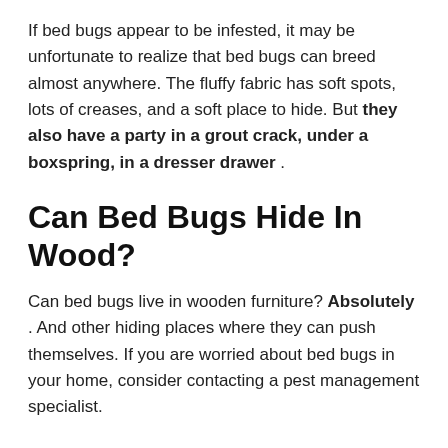If bed bugs appear to be infested, it may be unfortunate to realize that bed bugs can breed almost anywhere. The fluffy fabric has soft spots, lots of creases, and a soft place to hide. But they also have a party in a grout crack, under a boxspring, in a dresser drawer .
Can Bed Bugs Hide In Wood?
Can bed bugs live in wooden furniture? Absolutely . And other hiding places where they can push themselves. If you are worried about bed bugs in your home, consider contacting a pest management specialist.